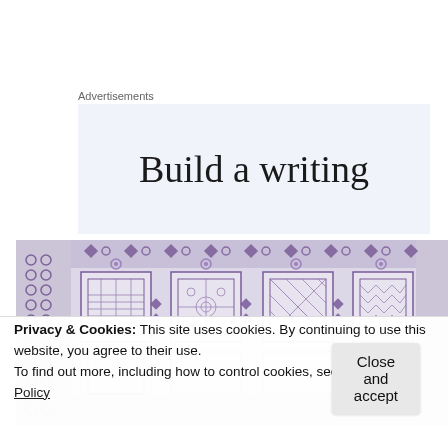Advertisements
[Figure (illustration): Advertisement banner with light blue-gray background and large serif text reading 'Build a writing']
[Figure (photo): Close-up photograph of an embroidery or cross-stitch needlework pattern featuring purple/violet geometric and floral motifs on white fabric, arranged in a grid of decorated squares with ornamental borders]
Privacy & Cookies: This site uses cookies. By continuing to use this website, you agree to their use.
To find out more, including how to control cookies, see here: Cookie Policy
Close and accept